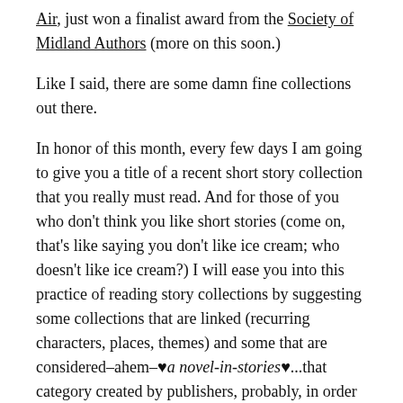Air, just won a finalist award from the Society of Midland Authors (more on this soon.)
Like I said, there are some damn fine collections out there.
In honor of this month, every few days I am going to give you a title of a recent short story collection that you really must read. And for those of you who don't think you like short stories (come on, that's like saying you don't like ice cream; who doesn't like ice cream?) I will ease you into this practice of reading story collections by suggesting some collections that are linked (recurring characters, places, themes) and some that are considered–ahem–♥a novel-in-stories♥...that category created by publishers, probably, in order to trick folks into buying story collections.
Today's title? THE GREATEST SHOW by Michael Downs.